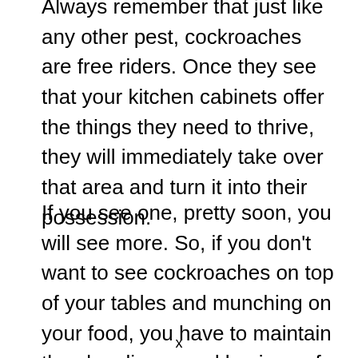Always remember that just like any other pest, cockroaches are free riders. Once they see that your kitchen cabinets offer the things they need to thrive, they will immediately take over that area and turn it into their possession.
If you see one, pretty soon, you will see more. So, if you don't want to see cockroaches on top of your tables and munching on your food, you have to maintain the cleanliness and hygiene of your kitchen because that's where they can find the things they need to live.
x